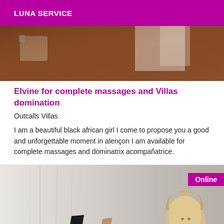LUNA SERVICE
[Figure (photo): Photograph of a person, partially visible, with a brown/warm-toned background and some light-colored fabric visible.]
Elvine for complete massages and Villas domination
Outcalls Villas
I am a beautiful black african girl I come to propose you a good and unforgettable moment in alençon I am available for complete massages and dominatrix acompañatrice.
[Figure (photo): Photograph showing high-heeled shoes and a blonde person, with an 'Online' badge overlay in magenta/purple in the top right corner.]